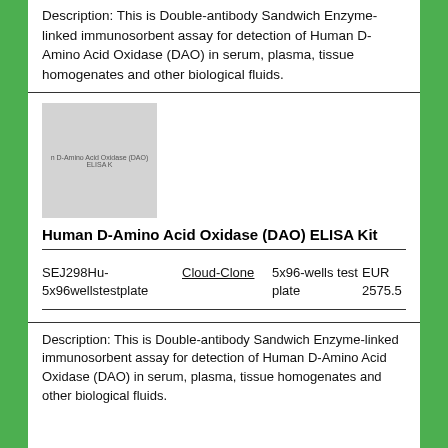Description: This is Double-antibody Sandwich Enzyme-linked immunosorbent assay for detection of Human D-Amino Acid Oxidase (DAO) in serum, plasma, tissue homogenates and other biological fluids.
[Figure (photo): Product image placeholder for Human D-Amino Acid Oxidase (DAO) ELISA Kit]
Human D-Amino Acid Oxidase (DAO) ELISA Kit
| SKU | Brand | Size | Price |
| --- | --- | --- | --- |
| SEJ298Hu-5x96wellstestplate | Cloud-Clone | 5x96-wells test plate | EUR 2575.5 |
Description: This is Double-antibody Sandwich Enzyme-linked immunosorbent assay for detection of Human D-Amino Acid Oxidase (DAO) in serum, plasma, tissue homogenates and other biological fluids.